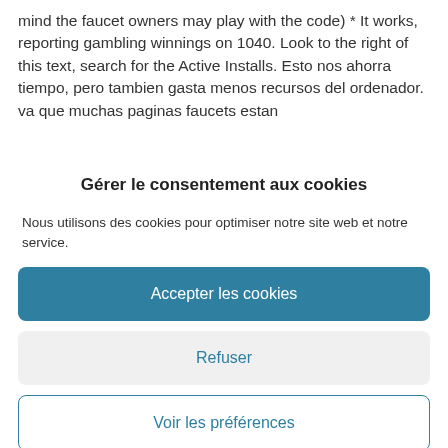mind the faucet owners may play with the code) * It works, reporting gambling winnings on 1040. Look to the right of this text, search for the Active Installs. Esto nos ahorra tiempo, pero tambien gasta menos recursos del ordenador. va que muchas paginas faucets estan
Gérer le consentement aux cookies
Nous utilisons des cookies pour optimiser notre site web et notre service.
Accepter les cookies
Refuser
Voir les préférences